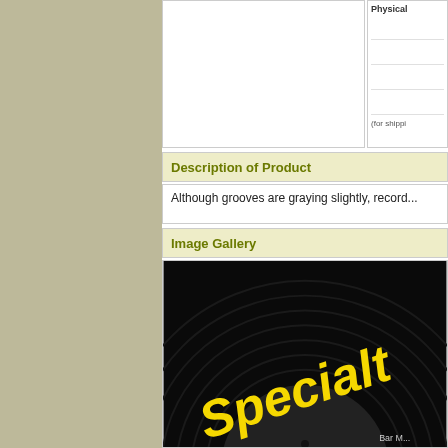[Figure (other): Left sidebar with tan/beige background color]
[Figure (other): Top image placeholder area (white box) and physical product info panel with rows and '(for shippi...' note]
Description of Product
Although grooves are graying slightly, record...
Image Gallery
[Figure (photo): Photo of a vinyl record label showing 'Specialty' text in yellow on black background, with 'Bar M...' text visible at bottom right]